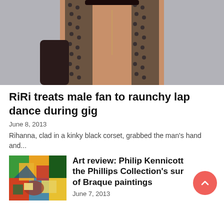[Figure (photo): Close-up photo of a woman (Rihanna) wearing a beaded/studded low-cut outfit with dark gloves, gray background]
RiRi treats male fan to raunchy lap dance during gig
June 8, 2013
Rihanna, clad in a kinky black corset, grabbed the man's hand and...
[Figure (photo): Thumbnail image of colorful abstract/cubist painting, featuring geometric shapes in green, yellow, orange, red, and blue]
Art review: Philip Kennicott the Phillips Collection's sur of Braque paintings
June 7, 2013